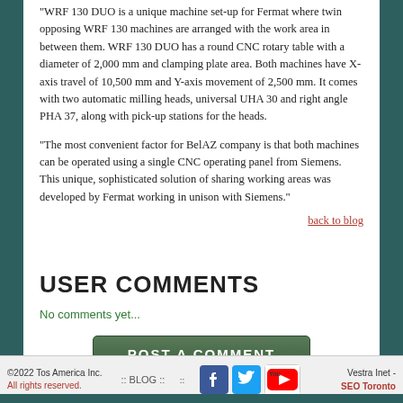"WRF 130 DUO is a unique machine set-up for Fermat where twin opposing WRF 130 machines are arranged with the work area in between them. WRF 130 DUO has a round CNC rotary table with a diameter of 2,000 mm and clamping plate area. Both machines have X-axis travel of 10,500 mm and Y-axis movement of 2,500 mm. It comes with two automatic milling heads, universal UHA 30 and right angle PHA 37, along with pick-up stations for the heads.
"The most convenient factor for BelAZ company is that both machines can be operated using a single CNC operating panel from Siemens. This unique, sophisticated solution of sharing working areas was developed by Fermat working in unison with Siemens."
back to blog
USER COMMENTS
No comments yet...
POST A COMMENT
©2022 Tos America Inc. All rights reserved. :: BLOG :: :: Vestra Inet - SEO Toronto